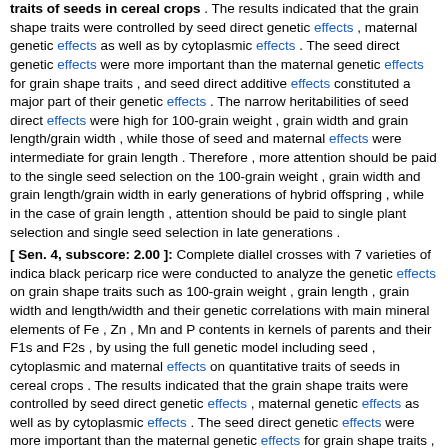traits of seeds in cereal crops . The results indicated that the grain shape traits were controlled by seed direct genetic effects , maternal genetic effects as well as by cytoplasmic effects . The seed direct genetic effects were more important than the maternal genetic effects for grain shape traits , and seed direct additive effects constituted a major part of their genetic effects . The narrow heritabilities of seed direct effects were high for 100-grain weight , grain width and grain length/grain width , while those of seed and maternal effects were intermediate for grain length . Therefore , more attention should be paid to the single seed selection on the 100-grain weight , grain width and grain length/grain width in early generations of hybrid offspring , while in the case of grain length , attention should be paid to single plant selection and single seed selection in late generations .
[ Sen. 4, subscore: 2.00 ]: Complete diallel crosses with 7 varieties of indica black pericarp rice were conducted to analyze the genetic effects on grain shape traits such as 100-grain weight , grain length , grain width and length/width and their genetic correlations with main mineral elements of Fe , Zn , Mn and P contents in kernels of parents and their F1s and F2s , by using the full genetic model including seed , cytoplasmic and maternal effects on quantitative traits of seeds in cereal crops . The results indicated that the grain shape traits were controlled by seed direct genetic effects , maternal genetic effects as well as by cytoplasmic effects . The seed direct genetic effects were more important than the maternal genetic effects for grain shape traits , and seed direct additive effects constituted a major part of their genetic effects . The narrow heritabilities of seed direct effects were high for 100-grain weight , grain width and grain length/grain width , while those of seed and maternal effects were intermediate for grain length . Therefore , more attention should be paid to the single seed selection on the 100-grain weight , grain width and grain length/grain width in early generations of hybrid offspring , while in the...